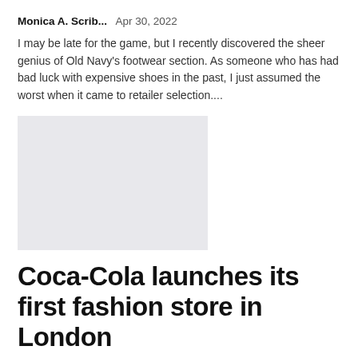Monica A. Scrib...   Apr 30, 2022
I may be late for the game, but I recently discovered the sheer genius of Old Navy's footwear section. As someone who has had bad luck with expensive shoes in the past, I just assumed the worst when it came to retailer selection....
[Figure (photo): Gray placeholder image for an article about Old Navy footwear]
Coca-Cola launches its first fashion store in London
Monica A. Scrib...   Apr 28, 2022
Coca-Cola has opened the doors to its first flagship fashion store in